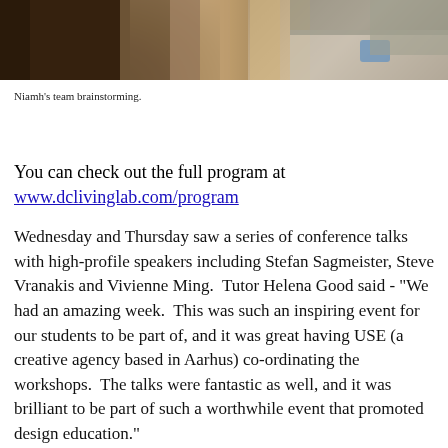[Figure (photo): Photo of students brainstorming at a table, showing curly hair in foreground and a person in grey sweater in background]
Niamh's team brainstorming.
You can check out the full program at www.dclivinglab.com/program
Wednesday and Thursday saw a series of conference talks with high-profile speakers including Stefan Sagmeister, Steve Vranakis and Vivienne Ming.  Tutor Helena Good said - "We had an amazing week.  This was such an inspiring event for our students to be part of, and it was great having USE (a creative agency based in Aarhus) co-ordinating the workshops.  The talks were fantastic as well, and it was brilliant to be part of such a worthwhile event that promoted design education."